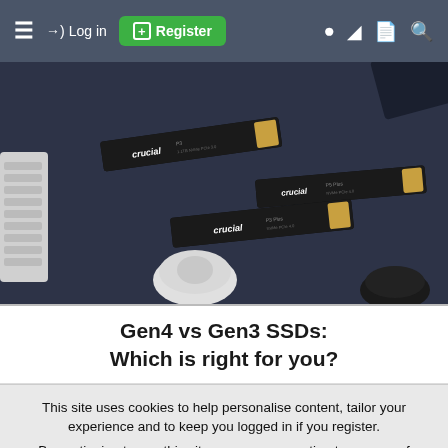≡  →) Log in  ⊞ Register  ● C 🗋 🔍
[Figure (photo): Three Crucial NVMe SSD drives (M.2 form factor) arranged on a dark desk surface alongside a white computer mouse, a keyboard edge, and a black mouse. The SSDs show the Crucial brand logo.]
Gen4 vs Gen3 SSDs:
Which is right for you?
This site uses cookies to help personalise content, tailor your experience and to keep you logged in if you register.
By continuing to use this site, you are consenting to our use of cookies.
✓ Accept   Learn more...